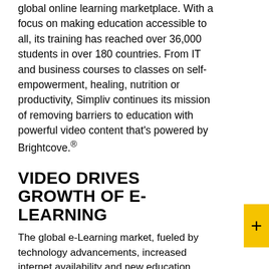global online learning marketplace. With a focus on making education accessible to all, its training has reached over 36,000 students in over 180 countries. From IT and business courses to classes on self-empowerment, healing, nutrition or productivity, Simpliv continues its mission of removing barriers to education with powerful video content that's powered by Brightcove.®
VIDEO DRIVES GROWTH OF E-LEARNING
The global e-Learning market, fueled by technology advancements, increased internet availability and new education models, is expected to reach $325 billion by 2025. Driving that rapid growth is the use of video, creating a powerful one-to-one connection that closes the virtual gap between student and instructor. From live streamed lectures and classes to on-demand courses, video brings the classroom to any student in any location on almost any device, making learning and development more